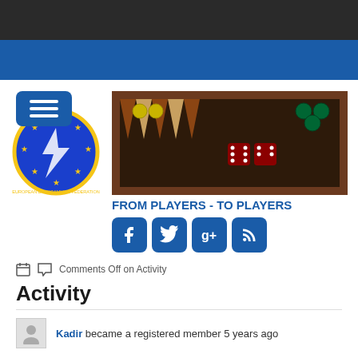[Figure (screenshot): European Backgammon Federation website screenshot showing dark top bar, blue navigation bar, logo, backgammon board banner image, tagline FROM PLAYERS - TO PLAYERS, social media icons, and Activity page content with member entry.]
FROM PLAYERS - TO PLAYERS
Comments Off on Activity
Activity
Kadir became a registered member 5 years ago